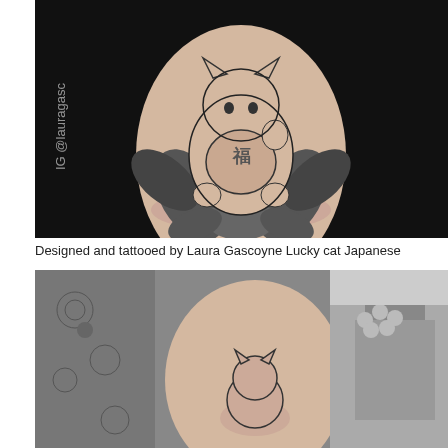[Figure (photo): Black and white photo of a tattoo on a person's wrist/ankle showing a Japanese lucky cat (Maneki-neko) sitting on a lotus flower, with 'IG @lauragasc' watermark visible on the left side. Dark black background.]
Designed and tattooed by Laura Gascoyne Lucky cat Japanese
[Figure (photo): Black and white photo showing two images side by side: on the left a person's side/arm with a floral patterned garment, and on the right what appears to be a lucky cat tattoo in progress on a hand/wrist with a building and flowers visible in the background.]